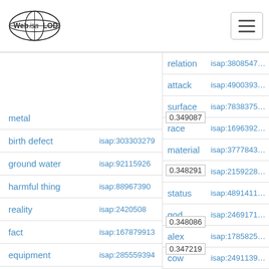Web isa LOD — navigation header with hamburger menu
| term (left) | isap (left) | term (right) | isap (right) |
| --- | --- | --- | --- |
| metal |  | relation | isap:3808547... |
| birth defect | isap:303303279 | attack / 0.349087 | isap:4900393... |
| ground water | isap:92115926 | surface | isap:7838375... |
| harmful thing | isap:88967390 | race / 0.348291 | isap:1696392... |
| reality | isap:2420508 | material | isap:3777843... |
| fact | isap:167879913 | m / 0.348236 | isap:2159228... |
| equipment | isap:285559394 | status | isap:4891411... |
| trace heavy metal | isap:87214975 | god / 0.348086 | isap:2469171... |
|  |  | alex | isap:1785825... |
| metal from the bloodstream | isap:85233436 | 0.347219 / cow | isap:2491139... |
| chemical | isap:458768115 | heroine | isap:8094060... |